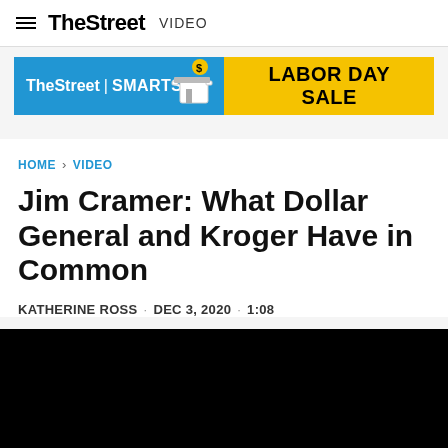TheStreet VIDEO
[Figure (other): TheStreet | SMARTS promotional banner ad in blue with building/coin icon, and LABOR DAY SALE yellow button ad]
HOME > VIDEO
Jim Cramer: What Dollar General and Kroger Have in Common
KATHERINE ROSS · DEC 3, 2020 · 1:08
[Figure (screenshot): Black video player area]